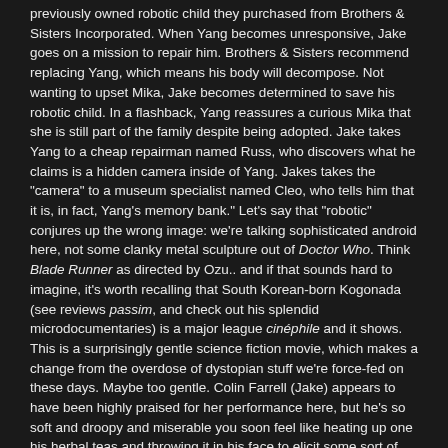previously owned robotic child they purchased from Brothers & Sisters Incorporated. When Yang becomes unresponsive, Jake goes on a mission to repair him. Brothers & Sisters recommend replacing Yang, which means his body will decompose. Not wanting to upset Mika, Jake becomes determined to save his robotic child. In a flashback, Yang reassures a curious Mika that she is still part of the family despite being adopted. Jake takes Yang to a cheap repairman named Russ, who discovers what he claims is a hidden camera inside of Yang. Jakes takes the "camera" to a museum specialist named Cleo, who tells him that it is, in fact, Yang's memory bank." Let's say that "robotic" conjures up the wrong image: we're talking sophisticated android here, not some clanky metal sculpture out of Doctor Who. Think Blade Runner as directed by Ozu.. and if that sounds hard to imagine, it's worth recalling that South Korean-born Kogonada (see reviews passim, and check out his splendid microdocumentaries) is a major league cinéphile and it shows. This is a surprisingly gentle science fiction movie, which makes a change from the overdose of dystopian stuff we're force-fed on these days. Maybe too gentle. Colin Farrell (Jake) appears to have been highly praised for her performance here, but he's so soft and droopy and miserable you soon feel like heating up one his herbal teas and throwing it in his face to elicit some sort of response. Idem Kyra (Jodie Turner-Smith). But that's Kogonada's world. I wouldn't expect a slasher from him any time soon.
http://www.paristransatlantic.com